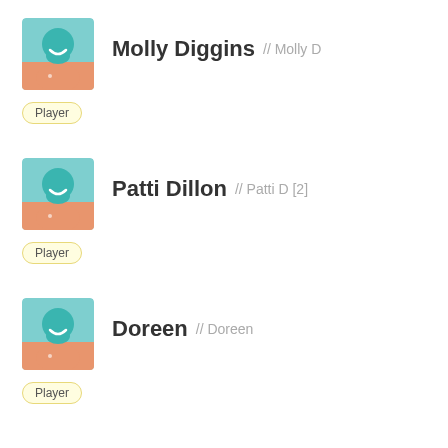[Figure (illustration): Avatar icon of a person with teal head and orange shirt, for Molly Diggins]
Molly Diggins // Molly D
Player
[Figure (illustration): Avatar icon of a person with teal head and orange shirt, for Patti Dillon]
Patti Dillon // Patti D [2]
Player
[Figure (illustration): Avatar icon of a person with teal head and orange shirt, for Doreen]
Doreen // Doreen
Player